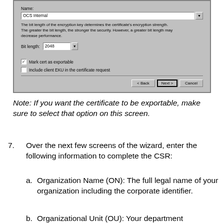[Figure (screenshot): Windows dialog box showing certificate request configuration with Name field set to 'OCS Internal', description of bit length effect on encryption strength, Bit length dropdown set to '2048', checkboxes for 'Mark cert as exportable' (checked) and 'Include client EKU in the certificate request' (unchecked), and Back/Next/Cancel buttons at the bottom.]
Note: If you want the certificate to be exportable, make sure to select that option on this screen.
7. Over the next few screens of the wizard, enter the following information to complete the CSR:
a. Organization Name (ON): The full legal name of your organization including the corporate identifier.
b. Organizational Unit (OU): Your department